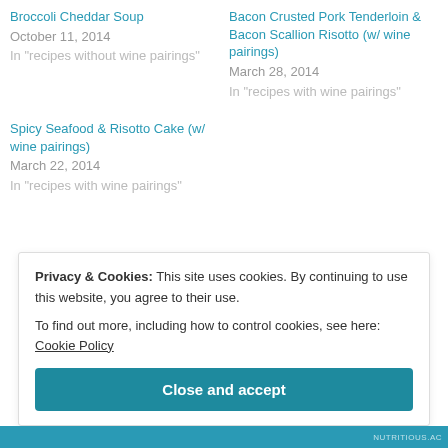Broccoli Cheddar Soup
October 11, 2014
In "recipes without wine pairings"
Bacon Crusted Pork Tenderloin & Bacon Scallion Risotto (w/ wine pairings)
March 28, 2014
In "recipes with wine pairings"
Spicy Seafood & Risotto Cake (w/ wine pairings)
March 22, 2014
In "recipes with wine pairings"
Privacy & Cookies: This site uses cookies. By continuing to use this website, you agree to their use.
To find out more, including how to control cookies, see here: Cookie Policy
Close and accept